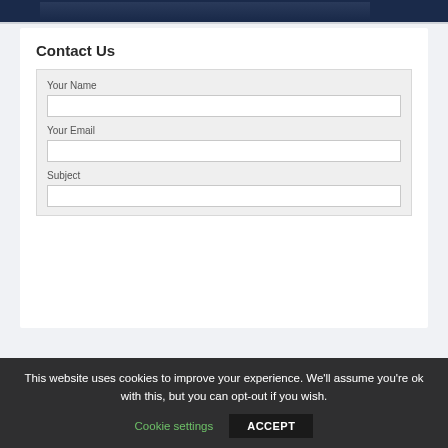[Figure (photo): Dark blue/navy image strip at the top of the page]
Contact Us
Your Name
Your Email
Subject
This website uses cookies to improve your experience. We'll assume you're ok with this, but you can opt-out if you wish.
Cookie settings
ACCEPT